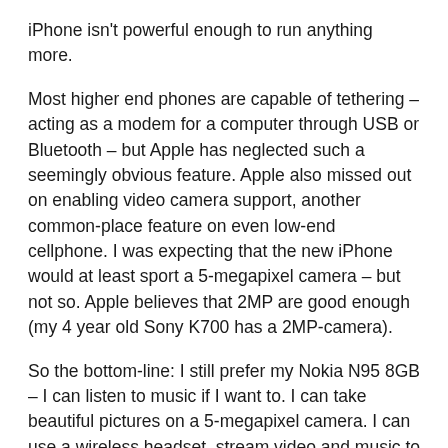iPhone isn't powerful enough to run anything more.
Most higher end phones are capable of tethering – acting as a modem for a computer through USB or Bluetooth – but Apple has neglected such a seemingly obvious feature. Apple also missed out on enabling video camera support, another common-place feature on even low-end cellphone. I was expecting that the new iPhone would at least sport a 5-megapixel camera – but not so. Apple believes that 2MP are good enough (my 4 year old Sony K700 has a 2MP-camera).
So the bottom-line: I still prefer my Nokia N95 8GB – I can listen to music if I want to. I can take beautiful pictures on a 5-megapixel camera. I can use a wireless headset, stream video and music to my PS3 or Mac. I can type SMS in the middle of the night while driving down the highway doing 140km/h (fail to see how this can work on any touchscreen).
There also seems to be rumors that the iPhone is not necessarily a true 3G-phone. There has been mention that it is a HSPA variant –